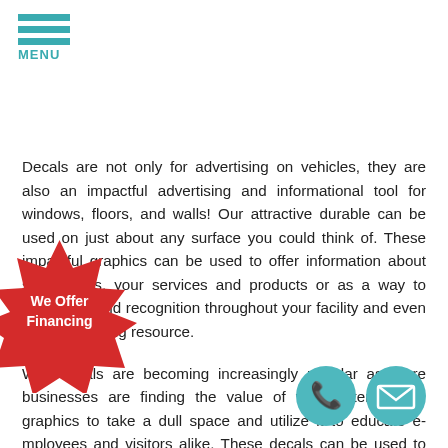MENU
Decals are not only for advertising on vehicles, they are also an impactful advertising and informational tool for windows, floors, and walls! Our attractive durable can be used on just about any surface you could think of. These impactful graphics can be used to offer information about store hours, your services and products or as a way to promote brand recognition throughout your facility and even as a wayfinding resource.
Wall decals are becoming increasingly popular as more businesses are finding the value of vinyl lettering and graphics to take a dull space and utilize it to educate employees and visitors alike. These decals can be used to tell about the history of your company or remind employees of proper safety procedures in work areas, or to guide visitors from one area of your facility to another, often directing the flow of traffic in high-traffic areas.
[Figure (infographic): Red starburst badge with text 'We Offer Financing']
[Figure (infographic): Teal circle with phone icon]
[Figure (infographic): Teal circle with email/envelope icon]